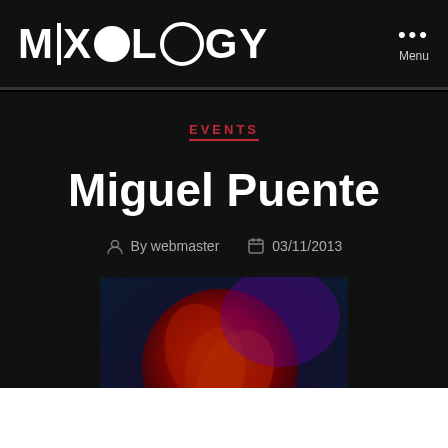MIXOLOGY  Menu
EVENTS
Miguel Puente
By webmaster  03/11/2013
[Figure (photo): Event poster for Miguel Puente showing a stylized red circular design over a dark background, with text 'MIGUEL PUENTE' and 'FRIDAY 29TH NOVEMBER']